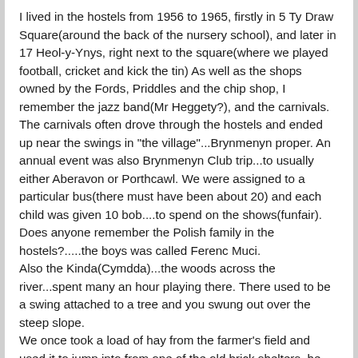I lived in the hostels from 1956 to 1965, firstly in 5 Ty Draw Square(around the back of the nursery school), and later in 17 Heol-y-Ynys, right next to the square(where we played football, cricket and kick the tin) As well as the shops owned by the Fords, Priddles and the chip shop, I remember the jazz band(Mr Heggety?), and the carnivals. The carnivals often drove through the hostels and ended up near the swings in "the village"...Brynmenyn proper. An annual event was also Brynmenyn Club trip...to usually either Aberavon or Porthcawl. We were assigned to a particular bus(there must have been about 20) and each child was given 10 bob....to spend on the shows(funfair).
Does anyone remember the Polish family in the hostels?.....the boys was called Ferenc Muci.
Also the Kinda(Cymdda)...the woods across the river...spent many an hour playing there. There used to be a swing attached to a tree and you swung out over the steep slope.
We once took a load of hay from the farmer's field and used it to jump into from one of the old brick shelters..he farmer was not happy. Happy, happy days
But I never knew until today that it was officially called